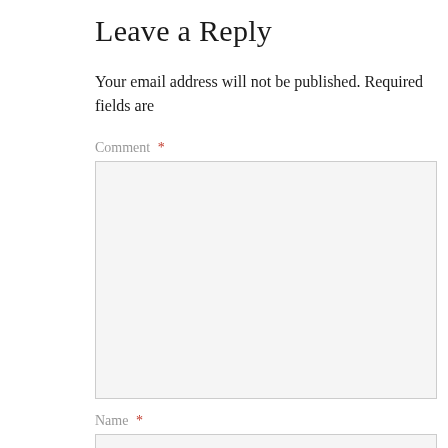Leave a Reply
Your email address will not be published. Required fields are
Comment *
Name *
Email *